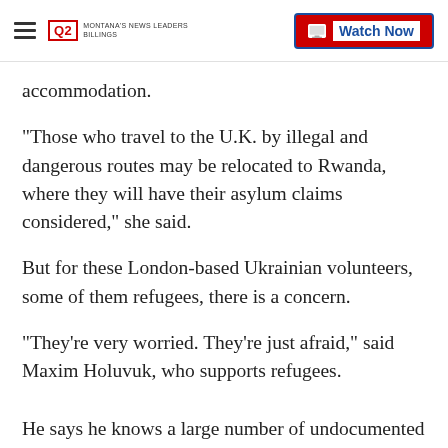Q2 MONTANAS NEWS LEADERS | Watch Now
accommodation.
"Those who travel to the U.K. by illegal and dangerous routes may be relocated to Rwanda, where they will have their asylum claims considered," she said.
But for these London-based Ukrainian volunteers, some of them refugees, there is a concern.
"They’re very worried. They're just afraid," said Maxim Holuvuk, who supports refugees.
He says he knows a large number of undocumented Ukrainians living in London and the community as a